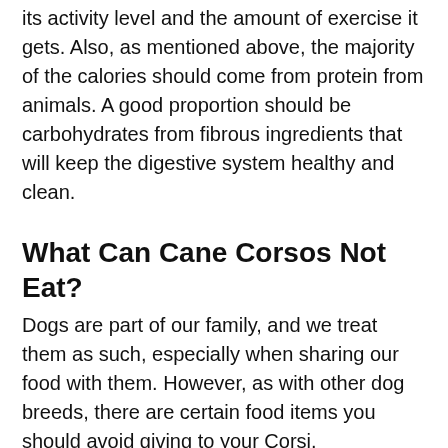its activity level and the amount of exercise it gets. Also, as mentioned above, the majority of the calories should come from protein from animals. A good proportion should be carbohydrates from fibrous ingredients that will keep the digestive system healthy and clean.
What Can Cane Corsos Not Eat?
Dogs are part of our family, and we treat them as such, especially when sharing our food with them. However, as with other dog breeds, there are certain food items you should avoid giving to your Corsi.